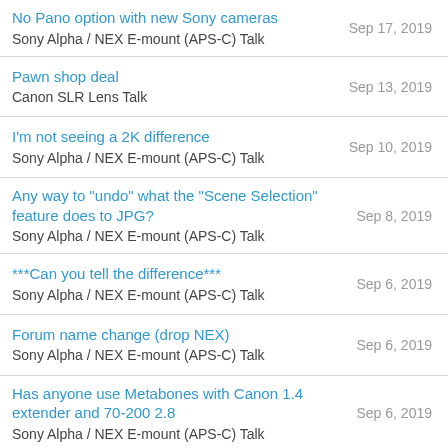No Pano option with new Sony cameras
Sony Alpha / NEX E-mount (APS-C) Talk
Sep 17, 2019
Pawn shop deal
Canon SLR Lens Talk
Sep 13, 2019
I'm not seeing a 2K difference
Sony Alpha / NEX E-mount (APS-C) Talk
Sep 10, 2019
Any way to "undo" what the "Scene Selection" feature does to JPG?
Sony Alpha / NEX E-mount (APS-C) Talk
Sep 8, 2019
***Can you tell the difference***
Sony Alpha / NEX E-mount (APS-C) Talk
Sep 6, 2019
Forum name change (drop NEX)
Sony Alpha / NEX E-mount (APS-C) Talk
Sep 6, 2019
Has anyone use Metabones with Canon 1.4 extender and 70-200 2.8
Sony Alpha / NEX E-mount (APS-C) Talk
Sep 6, 2019
Best 50mmish option for A6400/A6600
Sony Alpha / NEX E-mount (APS-C) Talk
Sep 5, 2019